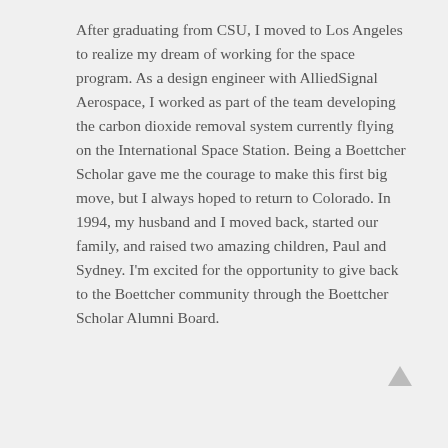After graduating from CSU, I moved to Los Angeles to realize my dream of working for the space program. As a design engineer with AlliedSignal Aerospace, I worked as part of the team developing the carbon dioxide removal system currently flying on the International Space Station. Being a Boettcher Scholar gave me the courage to make this first big move, but I always hoped to return to Colorado. In 1994, my husband and I moved back, started our family, and raised two amazing children, Paul and Sydney. I'm excited for the opportunity to give back to the Boettcher community through the Boettcher Scholar Alumni Board.